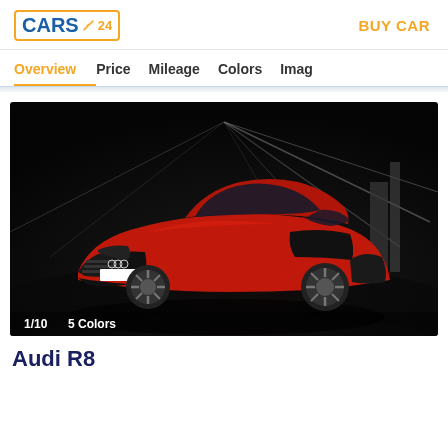CARS24 | BUY CAR
Overview | Price | Mileage | Colors | Imag
[Figure (photo): Red Audi R8 sports car photographed in a dark tunnel with dramatic lighting. White license plate area visible. Image counter shows 1/10 and 5 Colors label in bottom left.]
Audi R8